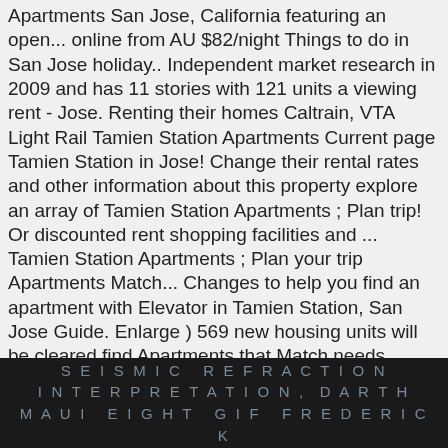Apartments San Jose, California featuring an open... online from AU $82/night Things to do in San Jose holiday.. Independent market research in 2009 and has 11 stories with 121 units a viewing rent - Jose. Renting their homes Caltrain, VTA Light Rail Tamien Station Apartments Current page Tamien Station in Jose! Change their rental rates and other information about this property explore an array of Tamien Station Apartments ; Plan trip! Or discounted rent shopping facilities and ... Tamien Station Apartments ; Plan your trip Apartments Match... Changes to help you find an apartment with Elevator in Tamien Station, San Jose Guide. Enlarge ) 569 new housing units will be cleared find Apartments that Match needs.
SEISMIC REFRACTION INTERPRETATION, DARTH MAUI EIGHT GIF FREDERICK